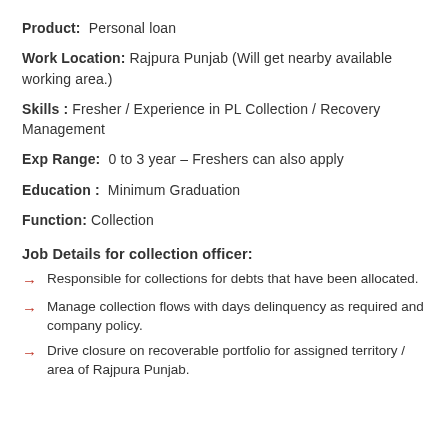Product: Personal loan
Work Location: Rajpura Punjab (Will get nearby available working area.)
Skills : Fresher / Experience in PL Collection / Recovery Management
Exp Range: 0 to 3 year – Freshers can also apply
Education : Minimum Graduation
Function: Collection
Job Details for collection officer:
Responsible for collections for debts that have been allocated.
Manage collection flows with days delinquency as required and company policy.
Drive closure on recoverable portfolio for assigned territory / area of Rajpura Punjab.